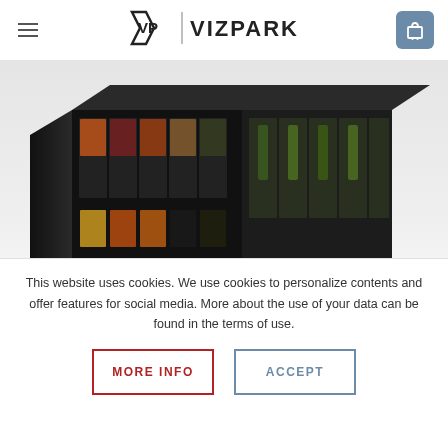[Figure (logo): VizPark logo with VP monogram and wordmark, navigation hamburger menu on left, shopping cart icon on right]
[Figure (photo): 3D product box set for VizPark showing multiple panels/cards with food and plant imagery arranged as a large display collection on a reflective surface]
MORE INFO
This website uses cookies. We use cookies to personalize contents and offer features for social media. More about the use of your data can be found in the terms of use.
MORE INFO
ACCEPT